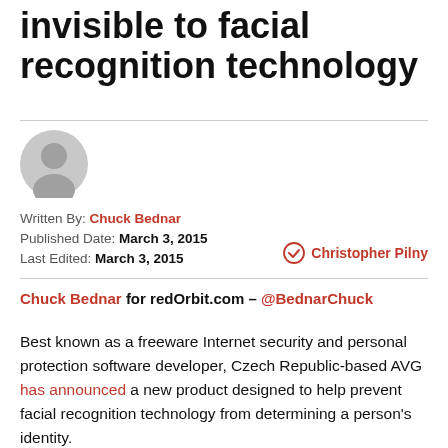invisible to facial recognition technology
[Figure (illustration): Gray circular avatar/profile icon placeholder]
Written By: Chuck Bednar
Published Date: March 3, 2015
Last Edited: March 3, 2015
Christopher Pilny
Chuck Bednar for redOrbit.com – @BednarChuck
Best known as a freeware Internet security and personal protection software developer, Czech Republic-based AVG has announced a new product designed to help prevent facial recognition technology from determining a person's identity.